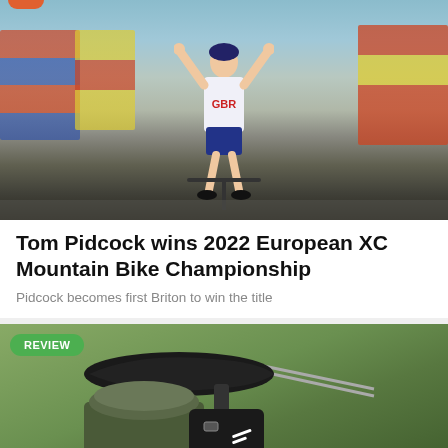[Figure (photo): Cyclist Tom Pidcock wearing GBR jersey with arms raised in victory at the 2022 European XC Mountain Bike Championship]
Tom Pidcock wins 2022 European XC Mountain Bike Championship
Pidcock becomes first Briton to win the title
[Figure (photo): Straight Cut Dropper Seatpost saddlebag (olive green roll-top style) mounted under a black bicycle saddle, shown on a green grass background with a REVIEW badge overlay]
Straight Cut Dropper Seatpost saddlebag